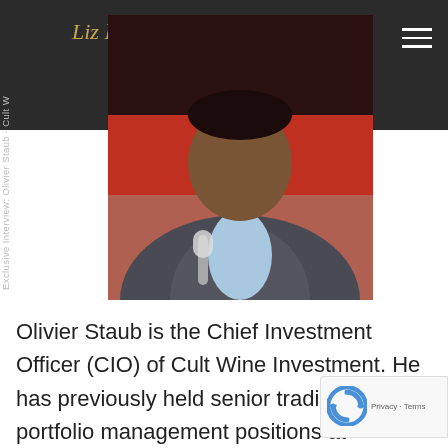Liz Palmer
Exclusive Interview: Olivier Staub
[Figure (photo): Portrait photo of Olivier Staub, a man in a grey suit jacket and light blue shirt, photographed against a red/dark background, holding a microphone]
Olivier Staub is the Chief Investment Officer (CIO) of Cult Wine Investment. He has previously held senior trading and portfolio management positions at international financial institutions